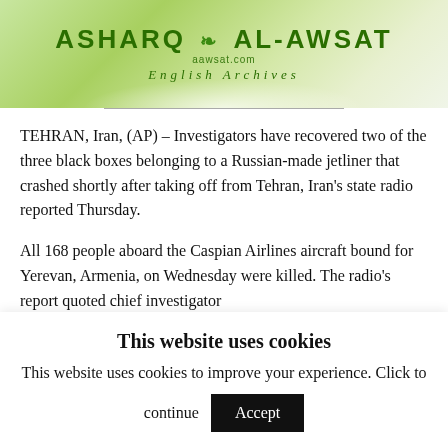[Figure (logo): Asharq Al-Awsat logo with green gradient banner, eagle emblem, site URL aawsat.com and subtitle English Archives]
TEHRAN, Iran, (AP) – Investigators have recovered two of the three black boxes belonging to a Russian-made jetliner that crashed shortly after taking off from Tehran, Iran's state radio reported Thursday.
All 168 people aboard the Caspian Airlines aircraft bound for Yerevan, Armenia, on Wednesday were killed. The radio's report quoted chief investigator
This website uses cookies
This website uses cookies to improve your experience. Click to continue  Accept